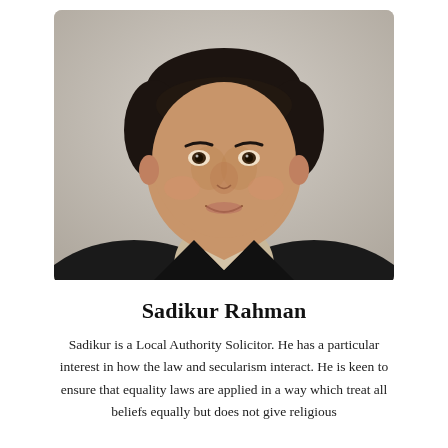[Figure (photo): Headshot photo of Sadikur Rahman, a man with dark hair wearing a dark jacket and open-collar striped shirt, against a beige/grey background.]
Sadikur Rahman
Sadikur is a Local Authority Solicitor. He has a particular interest in how the law and secularism interact. He is keen to ensure that equality laws are applied in a way which treat all beliefs equally but does not give religious